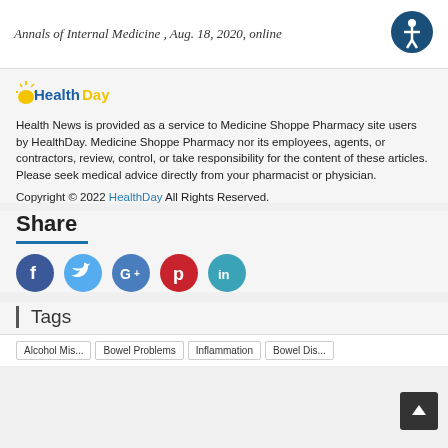Annals of Internal Medicine , Aug. 18, 2020, online
[Figure (logo): Accessibility icon — dark blue circle with white person figure]
[Figure (logo): HealthDay logo — blue and yellow text]
Health News is provided as a service to Medicine Shoppe Pharmacy site users by HealthDay. Medicine Shoppe Pharmacy nor its employees, agents, or contractors, review, control, or take responsibility for the content of these articles. Please seek medical advice directly from your pharmacist or physician.
Copyright © 2022 HealthDay All Rights Reserved.
Share
[Figure (infographic): Social share icons: Facebook (blue), Twitter (light blue), Google+ (blue/white), Pinterest (red), LinkedIn (teal)]
Tags
Alcohol Mis...  Bowel Problems Inflammation Bowel Dis...